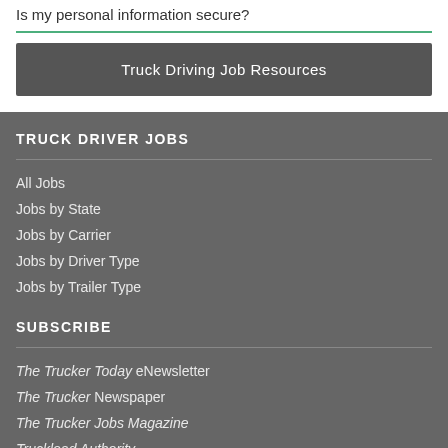Is my personal information secure?
Truck Driving Job Resources
TRUCK DRIVER JOBS
All Jobs
Jobs by State
Jobs by Carrier
Jobs by Driver Type
Jobs by Trailer Type
SUBSCRIBE
The Trucker Today eNewsletter
The Trucker Newspaper
The Trucker Jobs Magazine
Truckload Authority